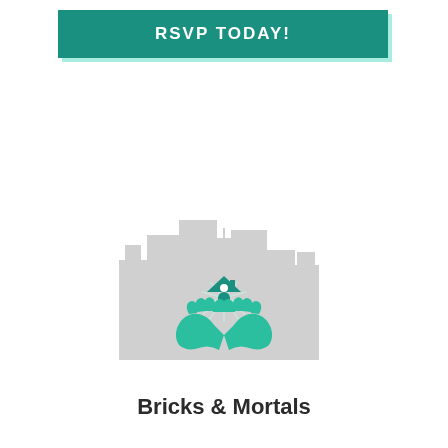RSVP TODAY!
[Figure (logo): Bricks & Mortals logo: cityscape silhouette in light gray behind a teal house icon with radiating lines, held up by two teal hands forming a cupped gesture]
Bricks & Mortals